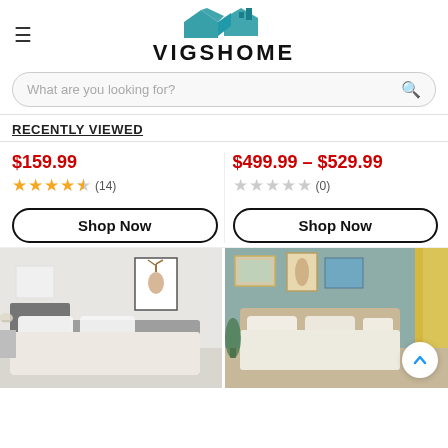[Figure (logo): VIGSHOME logo with blue house/roof SVG above bold uppercase text VIGSHOME]
What are you looking for?
RECENTLY VIEWED
$159.99
★★★★½ (14)
Shop Now
$499.99 – $529.99
☆☆☆☆☆ (0)
Shop Now
[Figure (photo): Bedroom with grey upholstered bed, white bedding, white walls, deer artwork on wall]
[Figure (photo): Bedroom with beige upholstered bed, white bedding, sage green wall, framed art, yellow curtains, plants]